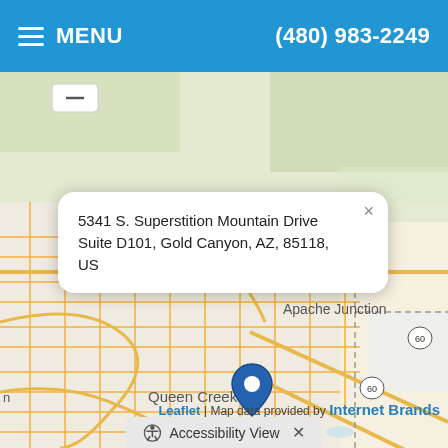MENU  (480) 983-2249
[Figure (map): Street map showing Apache Junction, Queen Creek, San Tan Valley area in Arizona with a location pin at 5341 S. Superstition Mountain Drive Suite D101, Gold Canyon, AZ 85118]
5341 S. Superstition Mountain Drive Suite D101, Gold Canyon, AZ, 85118, US
Leaflet | Map data provided by Internet Brands
Accessibility View